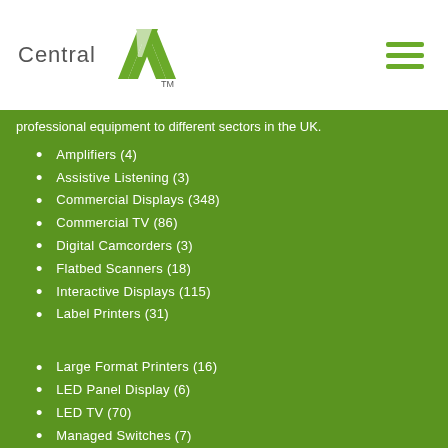Central AV
professional equipment to different sectors in the UK.
Amplifiers (4)
Assistive Listening (3)
Commercial Displays (348)
Commercial TV (86)
Digital Camcorders (3)
Flatbed Scanners (18)
Interactive Displays (115)
Label Printers (31)
Large Format Printers (16)
LED Panel Display (6)
LED TV (70)
Managed Switches (7)